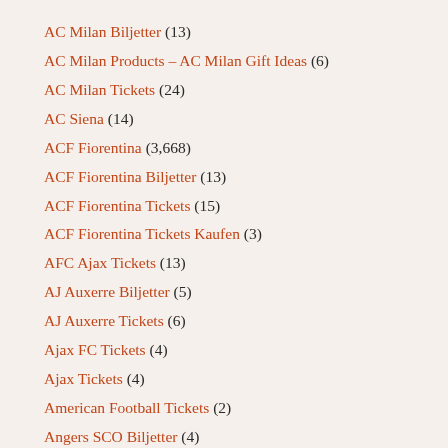AC Milan Biljetter (13)
AC Milan Products – AC Milan Gift Ideas (6)
AC Milan Tickets (24)
AC Siena (14)
ACF Fiorentina (3,668)
ACF Fiorentina Biljetter (13)
ACF Fiorentina Tickets (15)
ACF Fiorentina Tickets Kaufen (3)
AFC Ajax Tickets (13)
AJ Auxerre Biljetter (5)
AJ Auxerre Tickets (6)
Ajax FC Tickets (4)
Ajax Tickets (4)
American Football Tickets (2)
Angers SCO Biljetter (4)